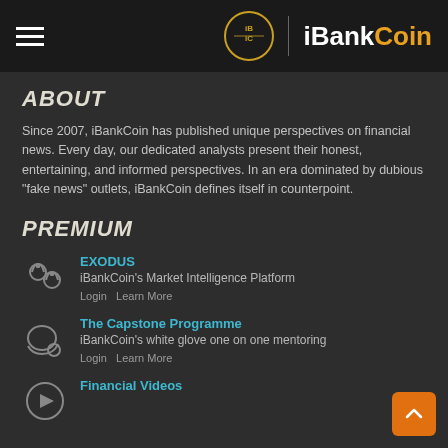iBankCoin
ABOUT
Since 2007, iBankCoin has published unique perspectives on financial news. Every day, our dedicated analysts present their honest, entertaining, and informed perspectives. In an era dominated by dubious "fake news" outlets, iBankCoin defines itself in counterpoint.
PREMIUM
EXODUS — iBankCoin's Market Intelligence Platform — Login | Learn More
The Capstone Programme — iBankCoin's white glove one on one mentoring — Login | Learn More
Financial Videos